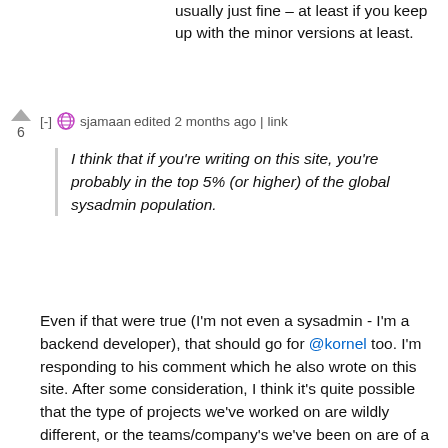usually just fine – at least if you keep up with the minor versions at least.
[-] sjamaan edited 2 months ago | link
I think that if you're writing on this site, you're probably in the top 5% (or higher) of the global sysadmin population.
Even if that were true (I'm not even a sysadmin - I'm a backend developer), that should go for @kornel too. I'm responding to his comment which he also wrote on this site. After some consideration, I think it's quite possible that the type of projects we've worked on are wildly different, or the teams/company's we've been on are of a different culture.
Most projects I've worked on are productivity systems for businesses, where some downtime can usually be coordinated with the customer. The project I'm currently working on is a public system where high availability is so important that it can literally save lives. But that's also why it's designed to be fully distributed, so taking down a node for upgrade is "trivial": when we bring it back up it'll sync state with